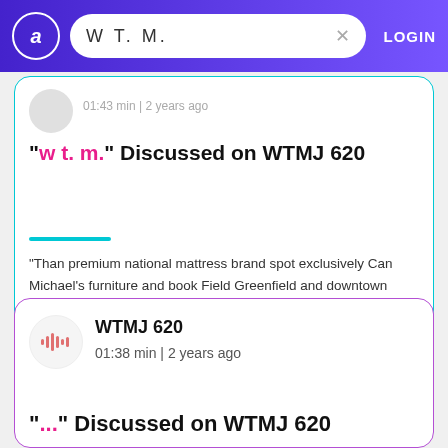W T. M.  LOGIN
01:43 min | 2 years ago
"w t. m." Discussed on WTMJ 620
"Than premium national mattress brand spot exclusively Can Michael's furniture and book Field Greenfield and downtown Milwaukee. Traffic and weather on the tens on ...
Mitchell Interchange
Milwaukee
WTMJ 620
01:38 min | 2 years ago
"..." Discussed on WTMJ 620